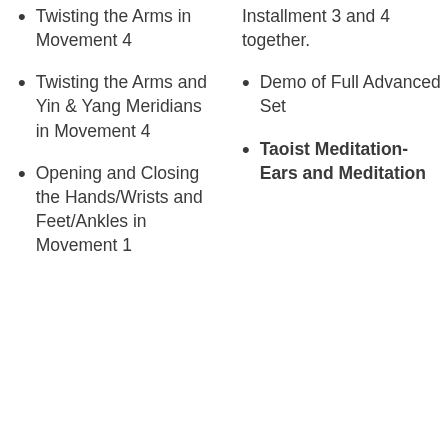Twisting the Arms in Movement 4
Twisting the Arms and Yin & Yang Meridians in Movement 4
Opening and Closing the Hands/Wrists and Feet/Ankles in Movement 1
Installment 3 and 4 together.
Demo of Full Advanced Set
Taoist Meditation- Ears and Meditation